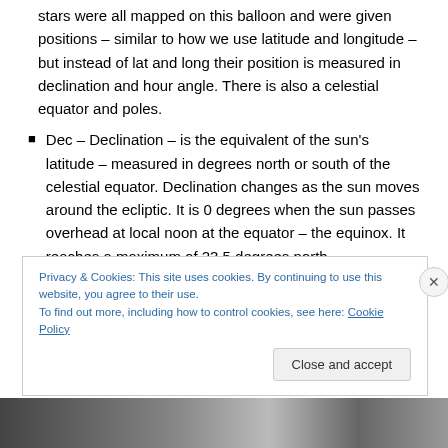stars were all mapped on this balloon and were given positions – similar to how we use latitude and longitude – but instead of lat and long their position is measured in declination and hour angle. There is also a celestial equator and poles.
Dec – Declination – is the equivalent of the sun's latitude – measured in degrees north or south of the celestial equator. Declination changes as the sun moves around the ecliptic. It is 0 degrees when the sun passes overhead at local noon at the equator – the equinox. It reaches a maximum of 23.5 degrees north
Privacy & Cookies: This site uses cookies. By continuing to use this website, you agree to their use.
To find out more, including how to control cookies, see here: Cookie Policy